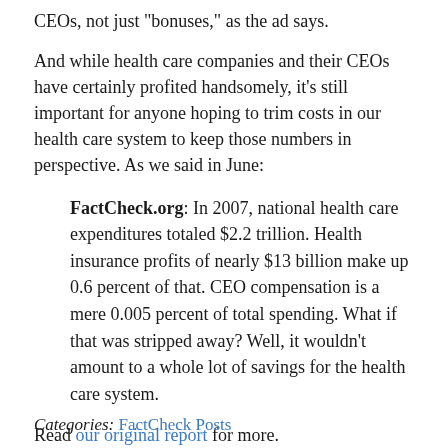CEOs, not just "bonuses," as the ad says.
And while health care companies and their CEOs have certainly profited handsomely, it’s still important for anyone hoping to trim costs in our health care system to keep those numbers in perspective. As we said in June:
FactCheck.org: In 2007, national health care expenditures totaled $2.2 trillion. Health insurance profits of nearly $13 billion make up 0.6 percent of that. CEO compensation is a mere 0.005 percent of total spending. What if that was stripped away? Well, it wouldn’t amount to a whole lot of savings for the health care system.
Read our original report for more.
Categories: FactCheck Posts